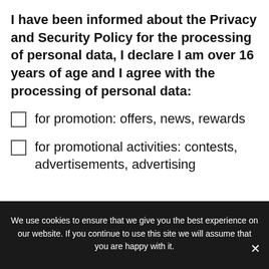I have been informed about the Privacy and Security Policy for the processing of personal data, I declare I am over 16 years of age and I agree with the processing of personal data:
for promotion: offers, news, rewards
for promotional activities: contests, advertisements, advertising
SEND
UPLOAD
We use cookies to ensure that we give you the best experience on our website. If you continue to use this site we will assume that you are happy with it.